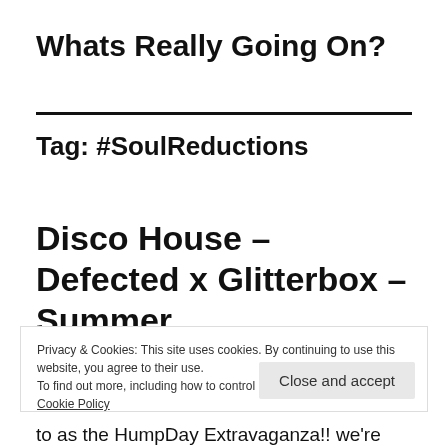Whats Really Going On?
Tag: #SoulReductions
Disco House – Defected x Glitterbox – Summer
Privacy & Cookies: This site uses cookies. By continuing to use this website, you agree to their use.
To find out more, including how to control cookies, see here: Cookie Policy
Close and accept
to as the HumpDay Extravaganza!! we're